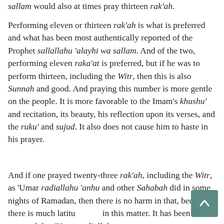sallam would also at times pray thirteen rak'ah.
Performing eleven or thirteen rak'ah is what is preferred and what has been most authentically reported of the Prophet sallallahu 'alayhi wa sallam. And of the two, performing eleven raka'at is preferred, but if he was to perform thirteen, including the Witr, then this is also Sunnah and good. And praying this number is more gentle on the people. It is more favorable to the Imam's khushu' and recitation, its beauty, his reflection upon its verses, and the ruku' and sujud. It also does not cause him to haste in his prayer.
And if one prayed twenty-three rak'ah, including the Witr, as 'Umar radiallahu 'anhu and other Sahabah did in some nights of Ramadan, then there is no harm in that, because there is much latitude in this matter. It has been reported that 'Umar radiallahu